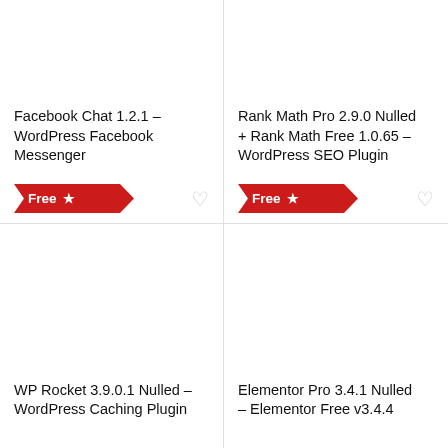Facebook Chat 1.2.1 – WordPress Facebook Messenger
Rank Math Pro 2.9.0 Nulled + Rank Math Free 1.0.65 – WordPress SEO Plugin
WP Rocket 3.9.0.1 Nulled – WordPress Caching Plugin
Elementor Pro 3.4.1 Nulled – Elementor Free v3.4.4